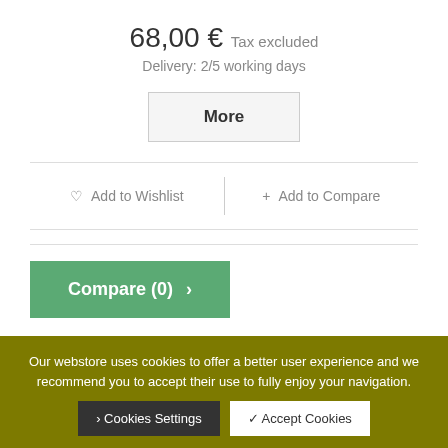68,00 € Tax excluded
Delivery: 2/5 working days
More
Add to Wishlist
Add to Compare
Compare (0) >
1 2 Show all
Our webstore uses cookies to offer a better user experience and we recommend you to accept their use to fully enjoy your navigation.
> Cookies Settings
✓ Accept Cookies